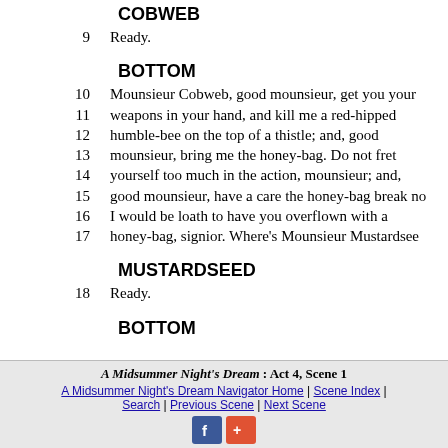COBWEB
9   Ready.
BOTTOM
10  Mounsieur Cobweb, good mounsieur, get you your
11  weapons in your hand, and kill me a red-hipped
12  humble-bee on the top of a thistle; and, good
13  mounsieur, bring me the honey-bag. Do not fret
14  yourself too much in the action, mounsieur; and,
15  good mounsieur, have a care the honey-bag break no
16  I would be loath to have you overflown with a
17  honey-bag, signior. Where's Mounsieur Mustardsee
MUSTARDSEED
18  Ready.
BOTTOM
A Midsummer Night's Dream : Act 4, Scene 1 | A Midsummer Night's Dream Navigator Home | Scene Index | Search | Previous Scene | Next Scene